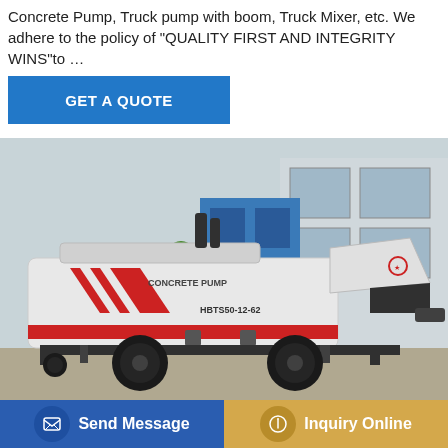Concrete Pump, Truck pump with boom, Truck Mixer, etc. We adhere to the policy of "QUALITY FIRST AND INTEGRITY WINS"to …
GET A QUOTE
[Figure (photo): A white concrete pump machine labeled 'CONCRETE PUMP' and 'HBTS50-12-62' with red chevron stripes, large black wheels, parked in an industrial yard with buildings and trees in the background.]
concrete mobile plant 25m3h mobile
Send Message
Inquiry Online